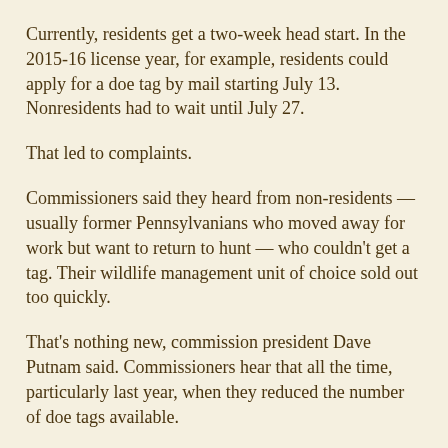Currently, residents get a two-week head start. In the 2015-16 license year, for example, residents could apply for a doe tag by mail starting July 13. Nonresidents had to wait until July 27.
That led to complaints.
Commissioners said they heard from non-residents — usually former Pennsylvanians who moved away for work but want to return to hunt — who couldn't get a tag. Their wildlife management unit of choice sold out too quickly.
That's nothing new, commission president Dave Putnam said. Commissioners hear that all the time, particularly last year, when they reduced the number of doe tags available.
Even then, it wasn't a huge problem, according to the numbers.
Dot Derr, director of the commission's bureau of administrative services, said only five of 23 wildlife